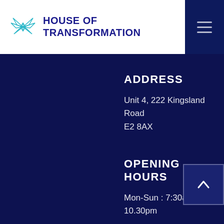[Figure (logo): House of Transformation logo with stylized butterfly/geometric icon in teal/blue and bold dark blue text 'HOUSE OF TRANSFORMATION']
ADDRESS
Unit 4, 222 Kingsland Road
E2 8AX
OPENING HOURS
Mon-Sun : 7:30am - 10.30pm
PROJECTS
CAMPFIRE
re:build
DEVX